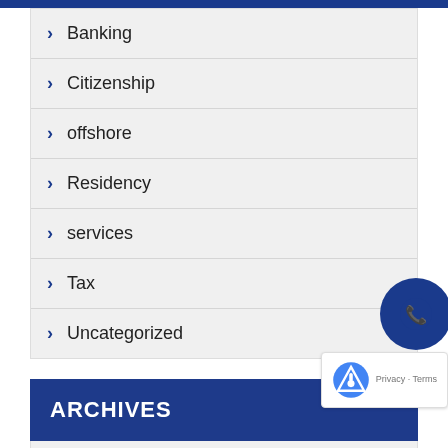Banking
Citizenship
offshore
Residency
services
Tax
Uncategorized
ARCHIVES
March 2021
February 2021